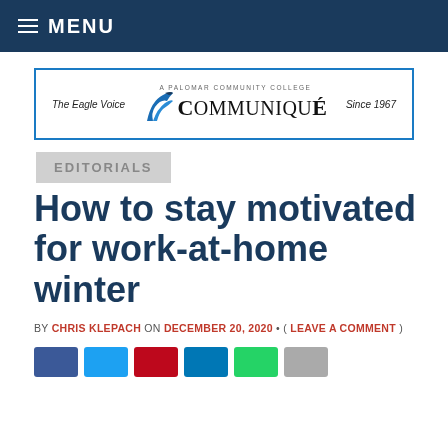≡ MENU
[Figure (logo): Communiqué newspaper logo with eagle illustration, 'The Eagle Voice' on left, 'COMMUNIQUÉ' in center with eagle graphic, 'Since 1967' on right, bordered in blue]
EDITORIALS
How to stay motivated for work-at-home winter
BY CHRIS KLEPACH ON DECEMBER 20, 2020 • ( LEAVE A COMMENT )